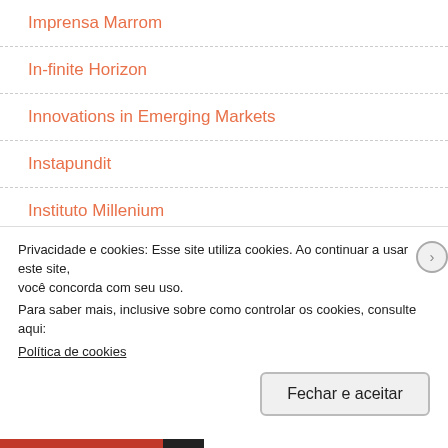Imprensa Marrom
In-finite Horizon
Innovations in Emerging Markets
Instapundit
Instituto Millenium
Janer Cristaldo
Japan Newbie
Privacidade e cookies: Esse site utiliza cookies. Ao continuar a usar este site, você concorda com seu uso.
Para saber mais, inclusive sobre como controlar os cookies, consulte aqui:
Política de cookies
Fechar e aceitar